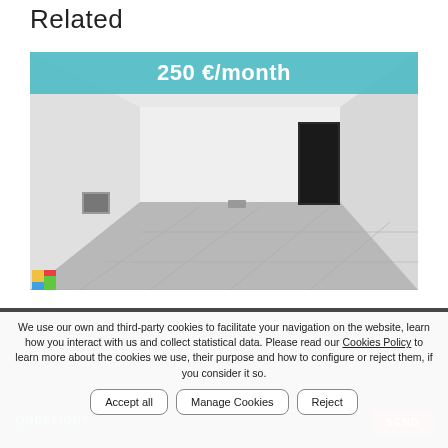Related
[Figure (photo): Interior photo of an empty commercial space with white walls and grey tiled floor, with a teal price banner overlay showing '250 €/month']
Local comercial – Zaragoza (Las Fuentes)
We use our own and third-party cookies to facilitate your navigation on the website, learn how you interact with us and collect statistical data. Please read our Cookies Policy to learn more about the cookies we use, their purpose and how to configure or reject them, if you consider it so.
Accept all
Manage Cookies
Reject
QUESTION?
SEND